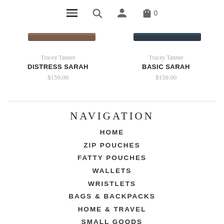Navigation icons: hamburger menu, search, user, bag 0
[Figure (photo): Product image for Distress Sarah wallet - dark brown leather strip]
Tracey Tanner
DISTRESS SARAH
$159.00
[Figure (photo): Product image for Basic Sarah wallet - dark navy leather strip]
Tracey Tanner
BASIC SARAH
$159.00
NAVIGATION
HOME
ZIP POUCHES
FATTY POUCHES
WALLETS
WRISTLETS
BAGS & BACKPACKS
HOME & TRAVEL
SMALL GOODS
SALE